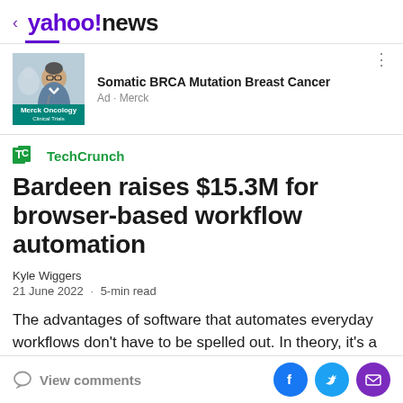< yahoo!news
[Figure (photo): Merck Oncology advertisement with a photo of a doctor and text 'Somatic BRCA Mutation Breast Cancer', Ad · Merck]
[Figure (logo): TechCrunch logo]
Bardeen raises $15.3M for browser-based workflow automation
Kyle Wiggers
21 June 2022 · 5-min read
The advantages of software that automates everyday workflows don't have to be spelled out. In theory, it's a
View comments